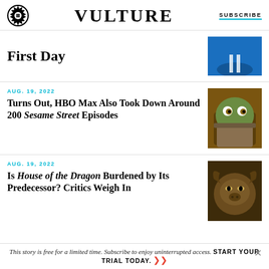VULTURE | SUBSCRIBE
First Day
AUG. 19, 2022
Turns Out, HBO Max Also Took Down Around 200 Sesame Street Episodes
AUG. 19, 2022
Is House of the Dragon Burdened by Its Predecessor? Critics Weigh In
This story is free for a limited time. Subscribe to enjoy uninterrupted access. START YOUR TRIAL TODAY.